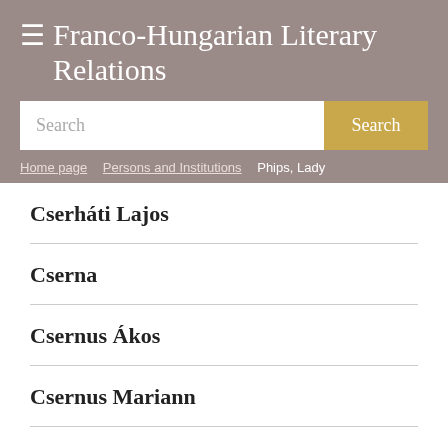Franco-Hungarian Literary Relations
Search
Home page / Persons and Institutions / Phips, Lady
Cserháti Lajos
Cserna
Csernus Ákos
Csernus Mariann